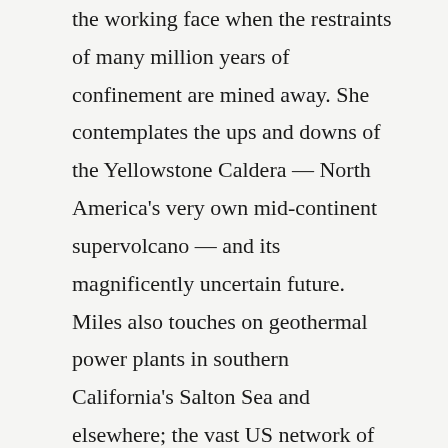the working face when the restraints of many million years of confinement are mined away. She contemplates the ups and downs of the Yellowstone Caldera — North America's very own mid-continent supervolcano — and its magnificently uncertain future. Miles also touches on geothermal power plants in southern California's Salton Sea and elsewhere; the vast US network of crumbling bridges, dams and oil-storage farms; and the magnitude 7–9 earthquakes that could hit California and the Cascadia coastline of Oregon and Washington state this century. Amid all this doom, a new elementary school on the coast near Westport, Washington, vulnerable to inbound tsunamis, is offered as a note of optimism. With foresight and much persuasion from its head teacher, it was engineered to become an elevated safe haven.